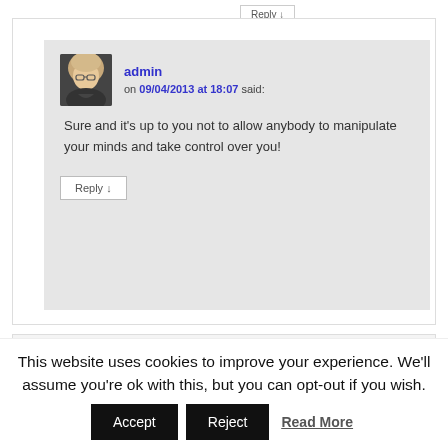Reply ↓
admin on 09/04/2013 at 18:07 said:
Sure and it's up to you not to allow anybody to manipulate your minds and take control over you!
Reply ↓
[Figure (photo): Avatar photo of a woman with blonde hair and glasses]
[Figure (illustration): Purple cartoon monster character]
This website uses cookies to improve your experience. We'll assume you're ok with this, but you can opt-out if you wish.
Accept   Reject   Read More